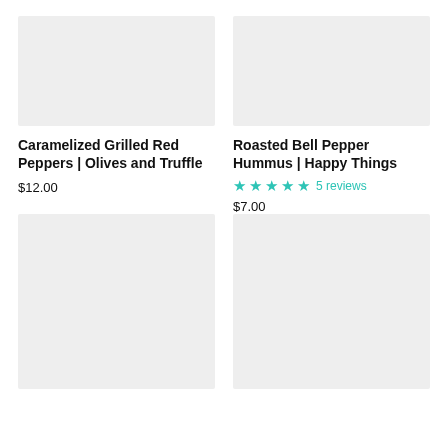[Figure (photo): Product image placeholder for Caramelized Grilled Red Peppers, light gray rectangle]
[Figure (photo): Product image placeholder for Roasted Bell Pepper Hummus, light gray rectangle]
Caramelized Grilled Red Peppers | Olives and Truffle
Roasted Bell Pepper Hummus | Happy Things
5 reviews
$12.00
$7.00
[Figure (photo): Product image placeholder, light gray rectangle, bottom left]
[Figure (photo): Product image placeholder, light gray rectangle, bottom right]